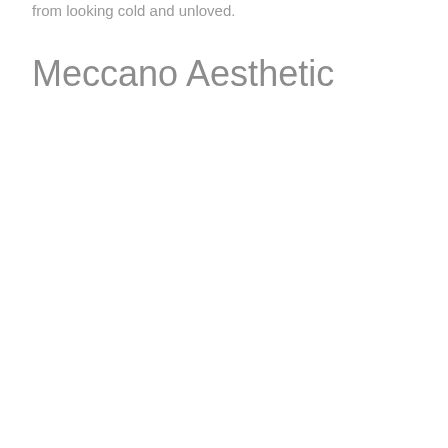from looking cold and unloved.
Meccano Aesthetic